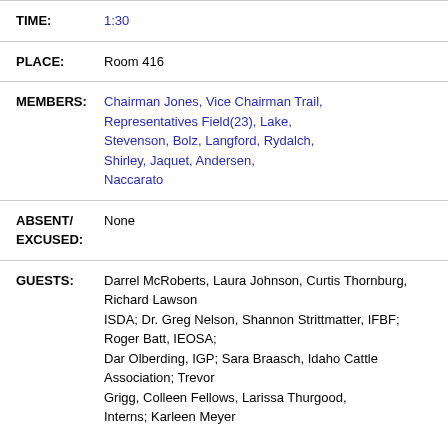TIME: 1:30
PLACE: Room 416
MEMBERS: Chairman Jones, Vice Chairman Trail, Representatives Field(23), Lake, Stevenson, Bolz, Langford, Rydalch, Shirley, Jaquet, Andersen, Naccarato
ABSENT/ EXCUSED: None
GUESTS: Darrel McRoberts, Laura Johnson, Curtis Thornburg, Richard Lawson ISDA; Dr. Greg Nelson, Shannon Strittmatter, IFBF; Roger Batt, IEOSA; Dar Olberding, IGP; Sara Braasch, Idaho Cattle Association; Trevor Grigg, Colleen Fellows, Larissa Thurgood, Interns; Karleen Meyer